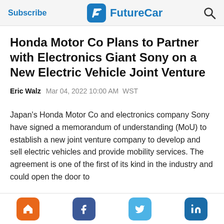Subscribe | FutureCar
Honda Motor Co Plans to Partner with Electronics Giant Sony on a New Electric Vehicle Joint Venture
Eric Walz   Mar 04, 2022 10:00 AM  WST
Japan's Honda Motor Co and electronics company Sony have signed a memorandum of understanding (MoU) to establish a new joint venture company to develop and sell electric vehicles and provide mobility services. The agreement is one of the first of its kind in the industry and could open the door to...